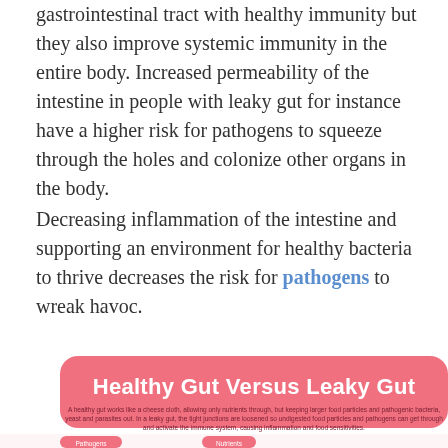gastrointestinal tract with healthy immunity but they also improve systemic immunity in the entire body. Increased permeability of the intestine in people with leaky gut for instance have a higher risk for pathogens to squeeze through the holes and colonize other organs in the body.
Decreasing inflammation of the intestine and supporting an environment for healthy bacteria to thrive decreases the risk for pathogens to wreak havoc.
[Figure (infographic): Healthy Gut Versus Leaky Gut infographic with pink banner header, subtitle text, and diagram showing pathogens, nutrients, immune cells, food sensitivity, undigested food particles, and antibody labels with illustrated icons.]